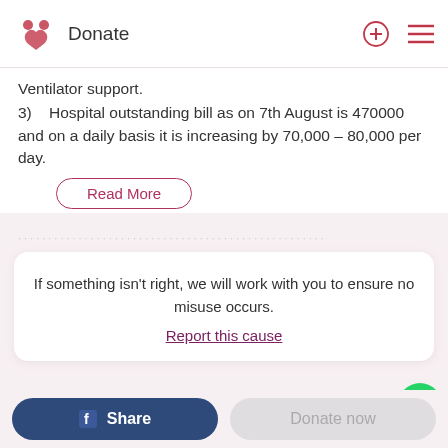Donate
Ventilator support.
3)   Hospital outstanding bill as on 7th August is 470000 and on a daily basis it is increasing by 70,000 – 80,000 per day.
Read More
If something isn't right, we will work with you to ensure no misuse occurs.
Report this cause
Supporters
Share
Donate now